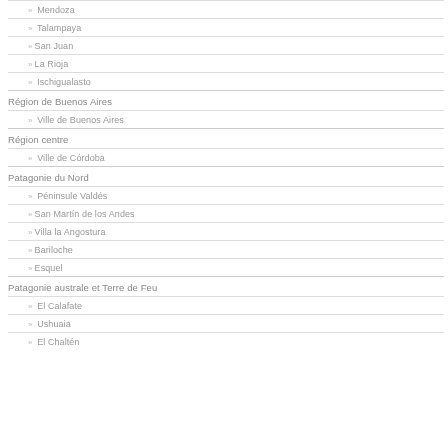» Mendoza
» Talampaya
»San Juan
»La Rioja
» Ischigualasto
Région de Buenos Aires
» Ville de Buenos Aires
Région centre
» Ville de Córdoba
Patagonie du Nord
» Péninsule Valdés
»San Martín de los Andes
»Villa la Angostura
»Bariloche
»Esquel
Patagonie australe et Terre de Feu
» El Calafate
» Ushuaia
» El Chaltén